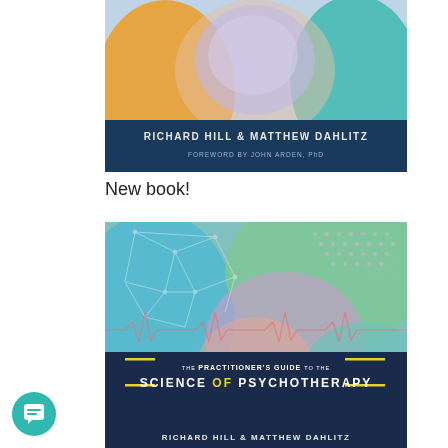[Figure (illustration): Book cover showing colorful abstract silhouettes of human heads in teal, orange, and blue. Authors: Richard Hill & Matthew Dahlitz. Foreword by John Arden, PhD.]
New book!
[Figure (illustration): Book cover for 'The Practitioner's Guide to the Science of Psychotherapy' by Richard Hill & Matthew Dahlitz. Features colorful abstract silhouettes with geometric patterns, heartbeat waveform, and network graph on dark navy title band.]